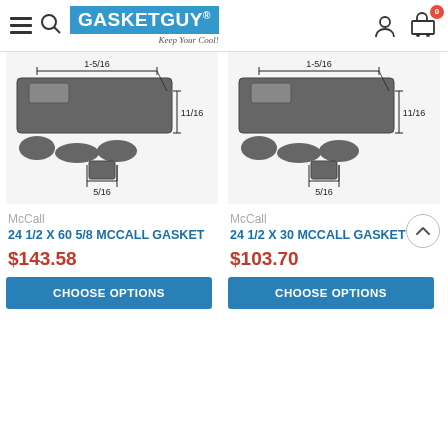GASKET GUY - Keep Your Cool!
[Figure (engineering-diagram): Cross-section diagram of a gasket profile showing dimensions: 1-5/16 width, 11/16 height, 5/16 bottom]
[Figure (engineering-diagram): Cross-section diagram of a gasket profile showing dimensions: 1-5/16 width, 11/16 height, 5/16 bottom]
McCall
24 1/2 X 60 5/8 MCCALL GASKET
$143.58
CHOOSE OPTIONS
McCall
24 1/2 X 30 MCCALL GASKET
$103.70
CHOOSE OPTIONS